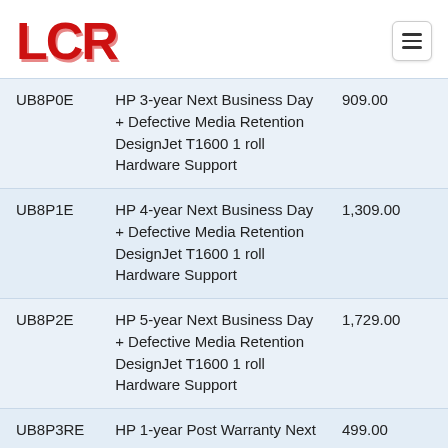LCR
| SKU | Description | Price |
| --- | --- | --- |
| UB8P0E | HP 3-year Next Business Day + Defective Media Retention DesignJet T1600 1 roll Hardware Support | 909.00 |
| UB8P1E | HP 4-year Next Business Day + Defective Media Retention DesignJet T1600 1 roll Hardware Support | 1,309.00 |
| UB8P2E | HP 5-year Next Business Day + Defective Media Retention DesignJet T1600 1 roll Hardware Support | 1,729.00 |
| UB8P3RE | HP 1-year Post Warranty Next ... | 499.00 |